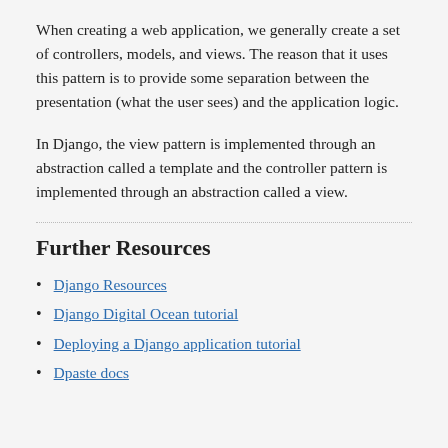When creating a web application, we generally create a set of controllers, models, and views. The reason that it uses this pattern is to provide some separation between the presentation (what the user sees) and the application logic.
In Django, the view pattern is implemented through an abstraction called a template and the controller pattern is implemented through an abstraction called a view.
Further Resources
Django Resources
Django Digital Ocean tutorial
Deploying a Django application tutorial
Dpaste docs